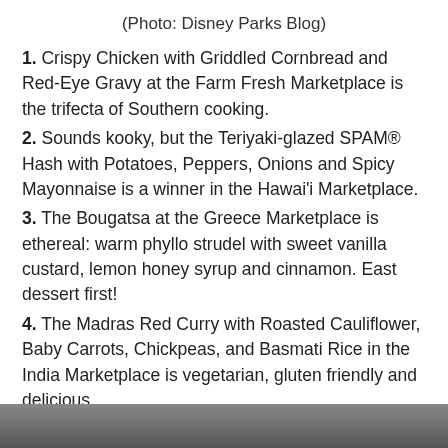(Photo: Disney Parks Blog)
1. Crispy Chicken with Griddled Cornbread and Red-Eye Gravy at the Farm Fresh Marketplace is the trifecta of Southern cooking.
2. Sounds kooky, but the Teriyaki-glazed SPAM® Hash with Potatoes, Peppers, Onions and Spicy Mayonnaise is a winner in the Hawai'i Marketplace.
3. The Bougatsa at the Greece Marketplace is ethereal: warm phyllo strudel with sweet vanilla custard, lemon honey syrup and cinnamon. East dessert first!
4. The Madras Red Curry with Roasted Cauliflower, Baby Carrots, Chickpeas, and Basmati Rice in the India Marketplace is vegetarian, gluten friendly and delicious.
5. Spain Marketplace gives us the perfect carry-around nibble: Charcuterie in a Cone with a selection of imported Spanish meats, cheeses and olives with an herb vinaigrette.
[Figure (photo): Bottom strip showing a partial photo, likely food from a Disney marketplace]